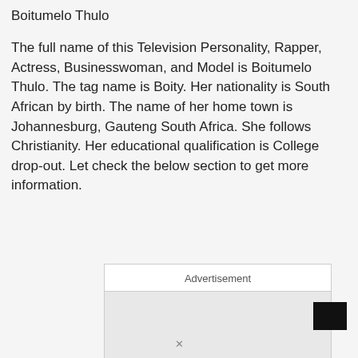Boitumelo Thulo
The full name of this Television Personality, Rapper, Actress, Businesswoman, and Model is Boitumelo Thulo. The tag name is Boity. Her nationality is South African by birth. The name of her home town is Johannesburg, Gauteng South Africa. She follows Christianity. Her educational qualification is College drop-out. Let check the below section to get more information.
[Figure (other): Advertisement placeholder box with grey content area]